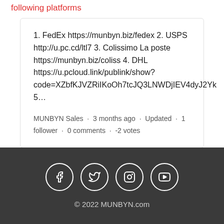following platforms
1. FedEx https://munbyn.biz/fedex 2. USPS http://u.pc.cd/ltl7 3. Colissimo La poste https://munbyn.biz/coliss 4. DHL https://u.pcloud.link/publink/show?code=XZbfKJVZRiIKoOh7tcJQ3LNWDjIEV4dyJ2Yk 5...
MUNBYN Sales · 3 months ago · Updated · 1 follower · 0 comments · -2 votes
© 2022 MUNBYN.com